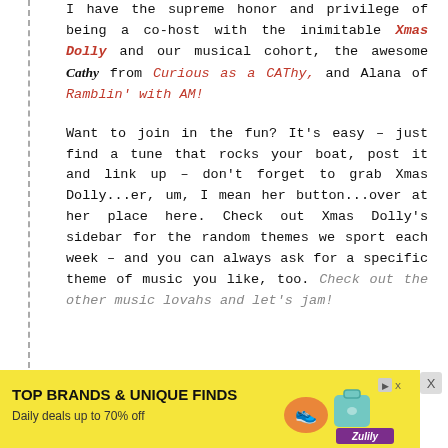I have the supreme honor and privilege of being a co-host with the inimitable Xmas Dolly and our musical cohort, the awesome Cathy from Curious as a CAThy, and Alana of Ramblin' with AM!
Want to join in the fun? It's easy – just find a tune that rocks your boat, post it and link up – don't forget to grab Xmas Dolly...er, um, I mean her button...over at her place here. Check out Xmas Dolly's sidebar for the random themes we sport each week – and you can always ask for a specific theme of music you like, too. Check out the other music lovahs and let's jam!
[Figure (infographic): Advertisement banner: yellow background with text 'TOP BRANDS & UNIQUE FINDS', 'Daily deals up to 70% off', shoe and handbag images, Zulily logo, and close/ad icons]